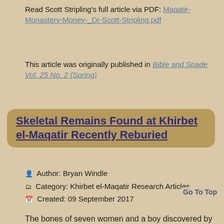Read Scott Stripling's full article via PDF: Maqatir-Monastery-Money-_Dr-Scott-Stripling.pdf
This article was originally published in Bible and Spade Vol. 25 No. 2 (Spring)
Skeletal Remains Found at Khirbet el-Maqatir Recently Reburied
Author: Bryan Windle
Category: Khirbet el-Maqatir Research Articles
Created: 09 September 2017
The bones of seven women and a boy discovered by ABR in 2013 and 2014 at Khirbet el-Maqatir were recently reburied. The remains of the Jewish residents were found in a cave, where they were hiding from the Romans during the Great Revolt of AD 69. The large cave was functioning as an olive press at the time and contained a secret cave for hiding off of the main cave. In addition to the bones, arrow heads and shoe studs from Roman soldiers, were also found in the cave,